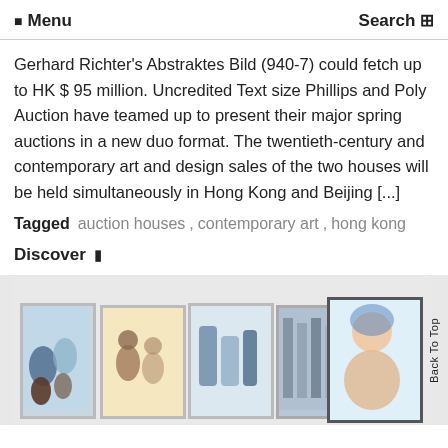Menu  Search
Gerhard Richter’s Abstraktes Bild (940-7) could fetch up to HK $ 95 million. Uncredited Text size Phillips and Poly Auction have teamed up to present their major spring auctions in a new duo format. The twentieth-century and contemporary art and design sales of the two houses will be held simultaneously in Hong Kong and Beijing [...]
Tagged  auction houses ,  contemporary art ,  hong kong
Discover
[Figure (photo): Gallery interior showing framed artworks hanging on white walls, with visitors partially visible at the bottom edge.]